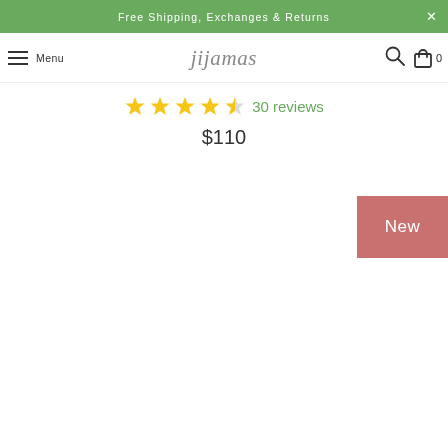Free Shipping, Exchanges & Returns
jijamas  Menu
30 reviews
$110
New